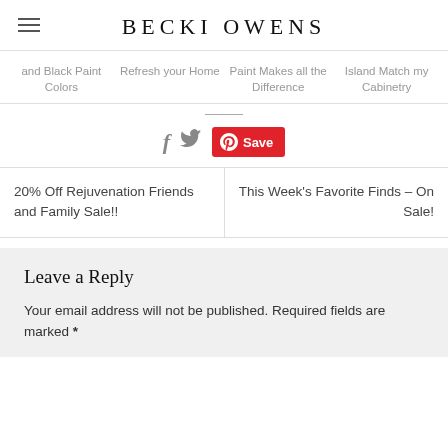BECKI OWENS
and Black Paint Colors | Refresh your Home | Paint Makes all the Difference | Island Match my Cabinetry
[Figure (infographic): Social sharing icons: Facebook f icon, Twitter bird icon, and a red Pinterest Save button with Pinterest logo]
20% Off Rejuvenation Friends and Family Sale!! | This Week's Favorite Finds – On Sale!
Leave a Reply
Your email address will not be published. Required fields are marked *